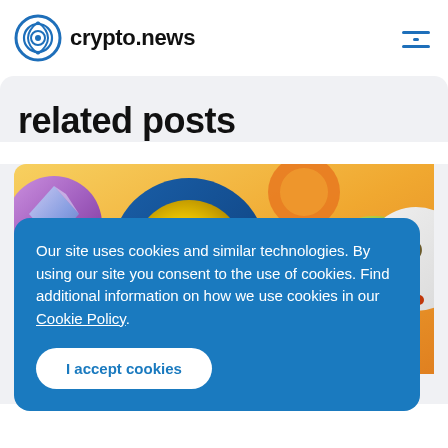crypto.news
related posts
[Figure (illustration): Colorful cryptocurrency coin icons on a yellow/orange gradient background including green circular token, diamond, and question mark token]
Our site uses cookies and similar technologies. By using our site you consent to the use of cookies. Find additional information on how we use cookies in our Cookie Policy.
I accept cookies